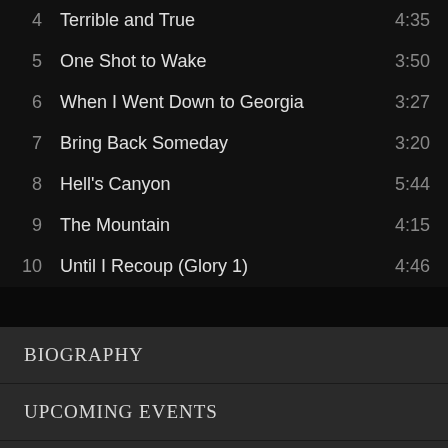4  Terrible and True  4:35
5  One Shot to Wake  3:50
6  When I Went Down to Georgia  3:27
7  Bring Back Someday  3:20
8  Hell's Canyon  5:44
9  The Mountain  4:15
10  Until I Recoup (Glory 1)  4:46
BIOGRAPHY
UPCOMING EVENTS
GALLERY
VIDEOS